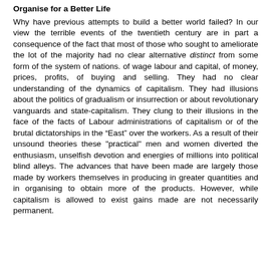Organise for a Better Life
Why have previous attempts to build a better world failed? In our view the terrible events of the twentieth century are in part a consequence of the fact that most of those who sought to ameliorate the lot of the majority had no clear alternative distinct from some form of the system of nations. of wage labour and capital, of money, prices, profits, of buying and selling. They had no clear understanding of the dynamics of capitalism. They had illusions about the politics of gradualism or insurrection or about revolutionary vanguards and state-capitalism. They clung to their illusions in the face of the facts of Labour administrations of capitalism or of the brutal dictatorships in the “East” over the workers. As a result of their unsound theories these "practical" men and women diverted the enthusiasm, unselfish devotion and energies of millions into political blind alleys. The advances that have been made are largely those made by workers themselves in producing in greater quantities and in organising to obtain more of the products. However, while capitalism is allowed to exist gains made are not necessarily permanent.